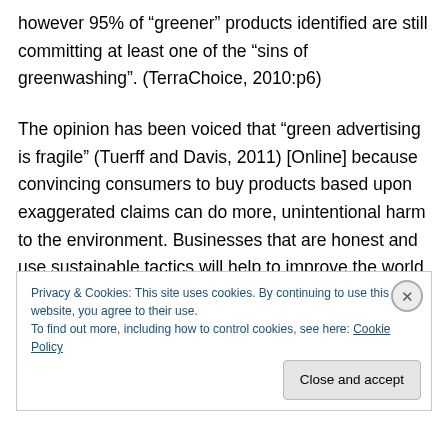however 95% of “greener” products identified are still committing at least one of the “sins of greenwashing”. (TerraChoice, 2010:p6)
The opinion has been voiced that “green advertising is fragile” (Tuerff and Davis, 2011) [Online] because convincing consumers to buy products based upon exaggerated claims can do more, unintentional harm to the environment. Businesses that are honest and use sustainable tactics will help to improve the world whereas greenwashers will hinder any developments by using
Privacy & Cookies: This site uses cookies. By continuing to use this website, you agree to their use.
To find out more, including how to control cookies, see here: Cookie Policy